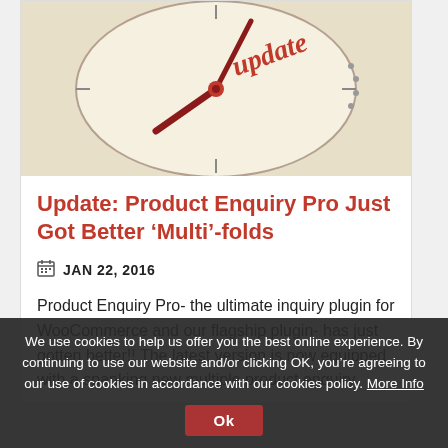[Figure (photo): Close-up of a clock face with red clock hands and the word 'update' written in red cursive script on the clock face, with a beige/cream background]
Update: Product Enquiry Pro Just Got Better ‘Multi’-folds
JAN 22, 2016
Product Enquiry Pro- the ultimate inquiry plugin for WooCommerce and our flagship plugin- has just gotten better!! The latest version is now equipped with a spanking new multiple product enquiry
We use cookies to help us offer you the best online experience. By continuing to use our website and/or clicking OK, you’re agreeing to our use of cookies in accordance with our cookies policy. More Info